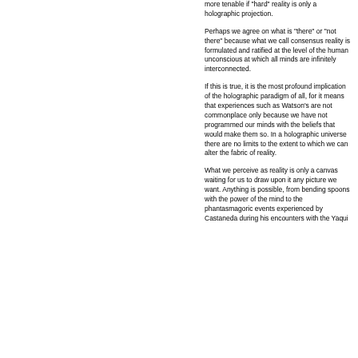more tenable if "hard" reality is only a holographic projection.
Perhaps we agree on what is "there" or "not there" because what we call consensus reality is formulated and ratified at the level of the human unconscious at which all minds are infinitely interconnected.
If this is true, it is the most profound implication of the holographic paradigm of all, for it means that experiences such as Watson's are not commonplace only because we have not programmed our minds with the beliefs that would make them so. In a holographic universe there are no limits to the extent to which we can alter the fabric of reality.
What we perceive as reality is only a canvas waiting for us to draw upon it any picture we want. Anything is possible, from bending spoons with the power of the mind to the phantasmagoric events experienced by Castaneda during his encounters with the Yaqui